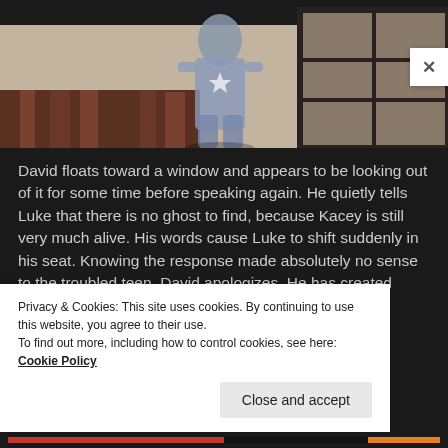[Figure (screenshot): A 3D rendered character (ghost/spirit figure) floating near a window with wooden fence/boards visible in the background. The figure appears translucent/grey against a beige wall with dark-framed windows.]
David floats toward a window and appears to be looking out of it for some time before speaking again. He quietly tells Luke that there is no ghost to find, because Kacey is still very much alive. His words cause Luke to shift suddenly in his seat. Knowing the response made absolutely no sense to the troubled teen, David apologizes. He has created more
Privacy & Cookies: This site uses cookies. By continuing to use this website, you agree to their use.
To find out more, including how to control cookies, see here: Cookie Policy
Close and accept